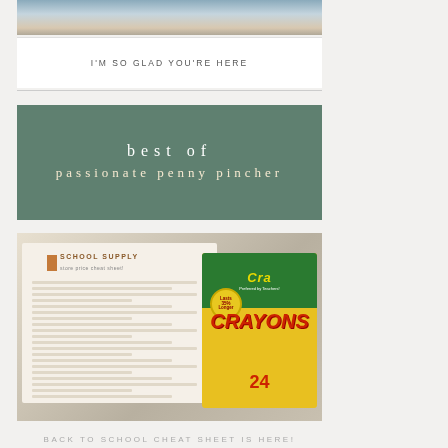[Figure (photo): Partial photo of person sitting, cropped at bottom]
I'M SO GLAD YOU'RE HERE
[Figure (infographic): Green banner reading 'best of passionate penny pincher']
[Figure (photo): School supply store price cheat sheet with Crayola crayons box 24 count]
BACK TO SCHOOL CHEAT SHEET IS HERE!